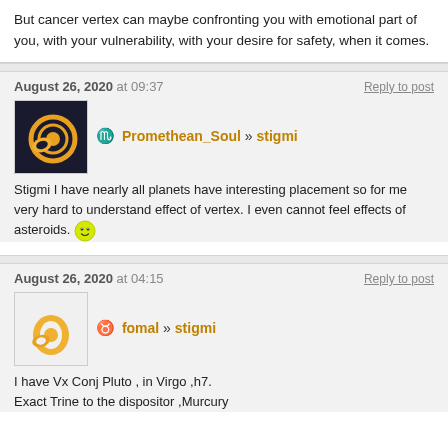But cancer vertex can maybe confronting you with emotional part of you, with your vulnerability, with your desire for safety, when it comes.
August 26, 2020 at 09:37
Reply to post
Promethean_Soul » stigmi
Stigmi I have nearly all planets have interesting placement so for me very hard to understand effect of vertex. I even cannot feel effects of asteroids.
August 26, 2020 at 04:15
Reply to post
fomal » stigmi
I have Vx Conj Pluto , in Virgo ,h7.
Exact Trine to the dispositor ,Murcury